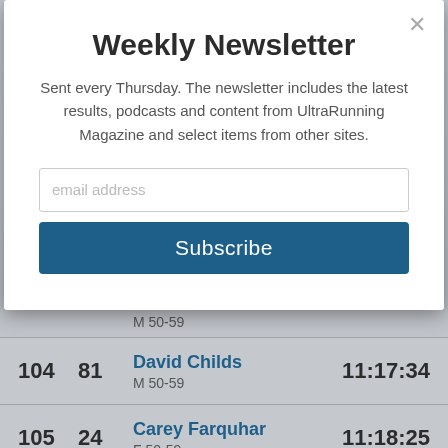Weekly Newsletter
Sent every Thursday. The newsletter includes the latest results, podcasts and content from UltraRunning Magazine and select items from other sites.
email address
Subscribe
| Rank | Bib | Name / Category | Time |
| --- | --- | --- | --- |
|  |  | M 50-59 |  |
| 104 | 81 | David Childs / M 50-59 | 11:17:34 |
| 105 | 24 | Carey Farquhar / F 50-59 | 11:18:25 |